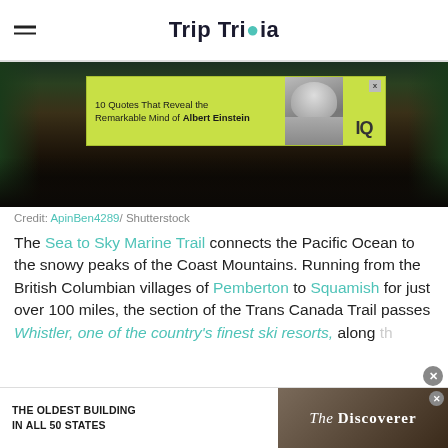Trip Trivia
[Figure (photo): Forest trail photo with mossy rocks and trees, with an overlaid advertisement banner reading '10 Quotes That Reveal the Remarkable Mind of Albert Einstein' on a yellow-green background with Einstein's photo]
Credit: ApinBen4289/ Shutterstock
The Sea to Sky Marine Trail connects the Pacific Ocean to the snowy peaks of the Coast Mountains. Running from the British Columbian villages of Pemberton to Squamish for just over 100 miles, the section of the Trans Canada Trail passes Whistler, one of the country's finest ski resorts, along the... cany...
[Figure (screenshot): Bottom advertisement banner: 'THE OLDEST BUILDING IN ALL 50 STATES' with The Discoverer magazine logo on dark background]